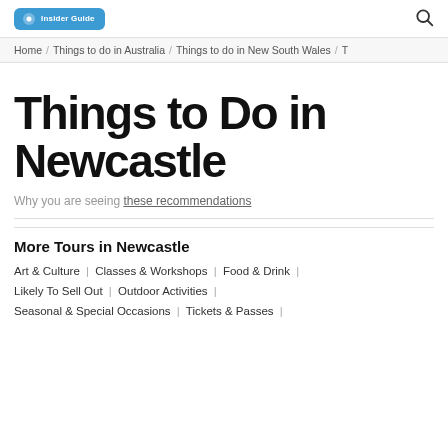Insider Guide [logo] [search icon]
Home / Things to do in Australia / Things to do in New South Wales / T
Things to Do in Newcastle
Why you are seeing these recommendations
More Tours in Newcastle
Art & Culture | Classes & Workshops | Food & Drink |
Likely To Sell Out | Outdoor Activities |
Seasonal & Special Occasions | Tickets & Passes |